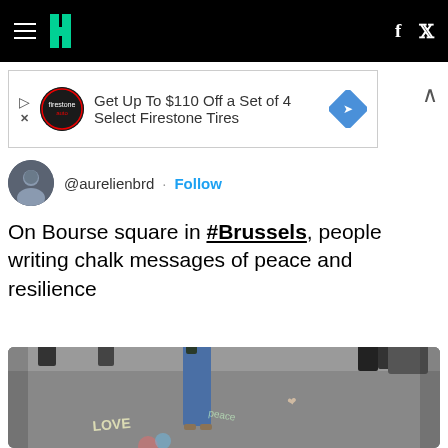HuffPost navigation bar with hamburger menu, logo, Facebook and Twitter icons
[Figure (screenshot): Advertisement banner: Get Up To $110 Off a Set of 4 Select Firestone Tires]
@aurelienbrd · Follow
On Bourse square in #Brussels, people writing chalk messages of peace and resilience
[Figure (photo): Photo of Bourse square in Brussels, people writing chalk messages of peace and resilience on the ground. The ground shows colorful chalk writings including 'LOVE' and 'FUCK TERROR'.]